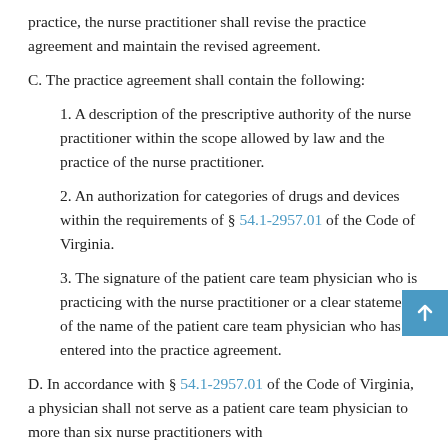practice, the nurse practitioner shall revise the practice agreement and maintain the revised agreement.
C. The practice agreement shall contain the following:
1. A description of the prescriptive authority of the nurse practitioner within the scope allowed by law and the practice of the nurse practitioner.
2. An authorization for categories of drugs and devices within the requirements of § 54.1-2957.01 of the Code of Virginia.
3. The signature of the patient care team physician who is practicing with the nurse practitioner or a clear statement of the name of the patient care team physician who has entered into the practice agreement.
D. In accordance with § 54.1-2957.01 of the Code of Virginia, a physician shall not serve as a patient care team physician to more than six nurse practitioners with